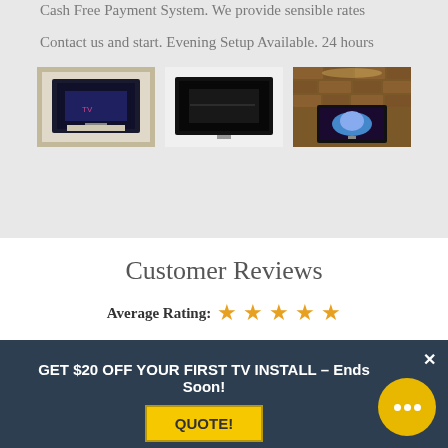Cash Free Payment System. We provide sensible rates
Contact us and start. Evening Setup Available. 24 hours
[Figure (photo): Three photos showing TV wall mount installations in different rooms]
Customer Reviews
Average Rating: ★★★★★
Great Service! Will Use Again.
GET $20 OFF YOUR FIRST TV INSTALL – Ends Soon!
QUOTE!